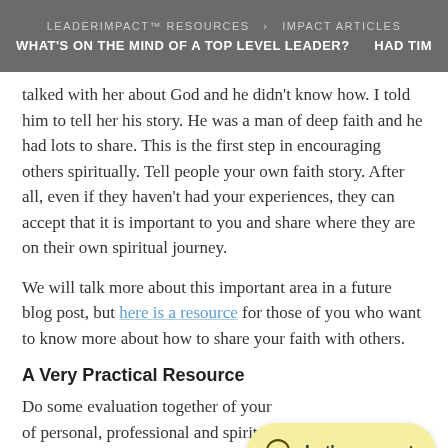LEADERIMPACT™ RESOURCES > IMPACT ARTICLES
WHAT'S ON THE MIND OF A TOP LEVEL LEADER?   HAD TIME TO TH
talked with her about God and he didn't know how. I told him to tell her his story. He was a man of deep faith and he had lots to share. This is the first step in encouraging others spiritually. Tell people your own faith story. After all, even if they haven't had your experiences, they can accept that it is important to you and share where they are on their own spiritual journey.
We will talk more about this important area in a future blog post, but here is a resource for those of you who want to know more about how to share your faith with others.
A Very Practical Resource
Do some evaluation together of your … of personal, professional and spiritu… LeaderImpact's Foundations workbook is an excellent tool